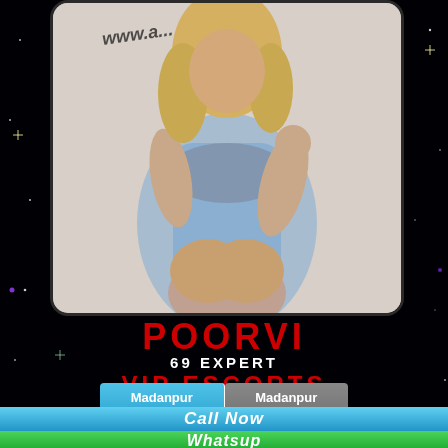[Figure (photo): Photo of a young woman in a light blue bodysuit and tied denim shirt, with watermark text 'www.a...' overlaid, displayed in a rounded dark frame against a starfield background]
POORVI
69 EXPERT
VIP ESCORTS
Madanpur Call Girls
Madanpur Model Escorts
Call Now
Whatsup